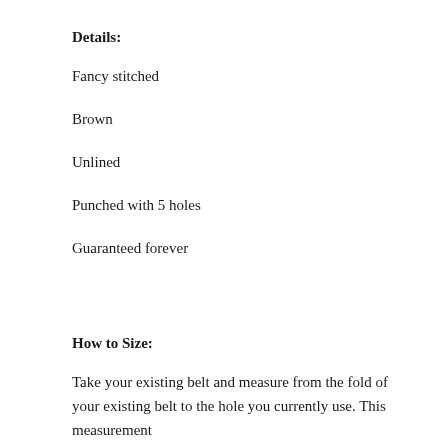Details:
Fancy stitched
Brown
Unlined
Punched with 5 holes
Guaranteed forever
How to Size:
Take your existing belt and measure from the fold of your existing belt to the hole you currently use. This measurement